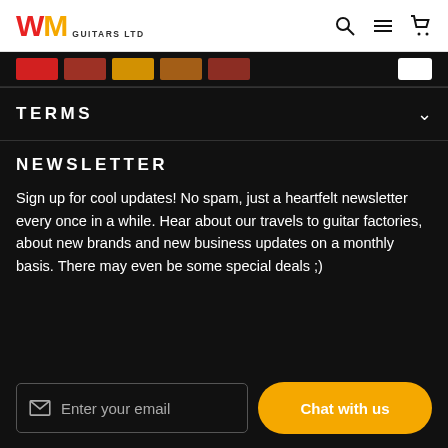WM Guitars Ltd
TERMS
NEWSLETTER
Sign up for cool updates! No spam, just a heartfelt newsletter every once in a while. Hear about our travels to guitar factories, about new brands and new business updates on a monthly basis. There may even be some special deals ;)